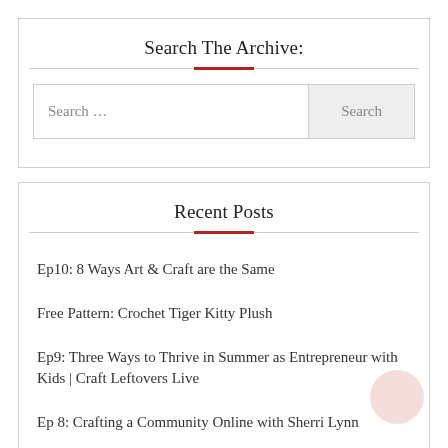Search The Archive:
[Figure (other): Search bar widget with text input field and Search button]
Recent Posts
Ep10: 8 Ways Art & Craft are the Same
Free Pattern: Crochet Tiger Kitty Plush
Ep9: Three Ways to Thrive in Summer as Entrepreneur with Kids | Craft Leftovers Live
Ep 8: Crafting a Community Online with Sherri Lynn